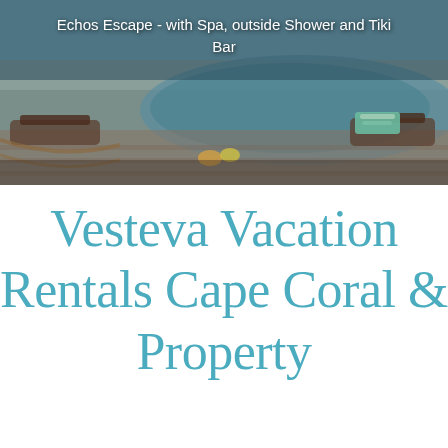[Figure (photo): Outdoor poolside area with lounge chairs, spa/hot tub, and tropical setting for Echos Escape vacation rental]
Echos Escape - with Spa, outside Shower and Tiki Bar
Vesteva Vacation Rentals Cape Coral & Property